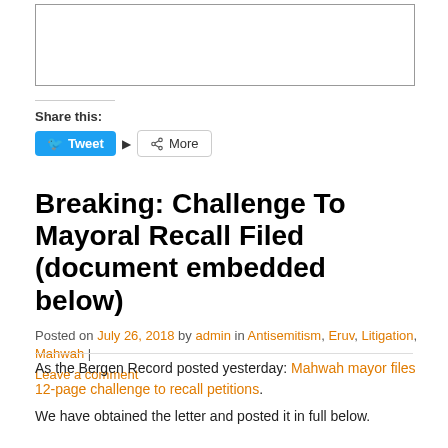[Figure (other): Empty bordered box at top of page]
Share this:
Tweet  ▶  More
Breaking: Challenge To Mayoral Recall Filed (document embedded below)
Posted on July 26, 2018 by admin in Antisemitism, Eruv, Litigation, Mahwah | Leave a comment
As the Bergen Record posted yesterday: Mahwah mayor files 12-page challenge to recall petitions.
We have obtained the letter and posted it in full below.